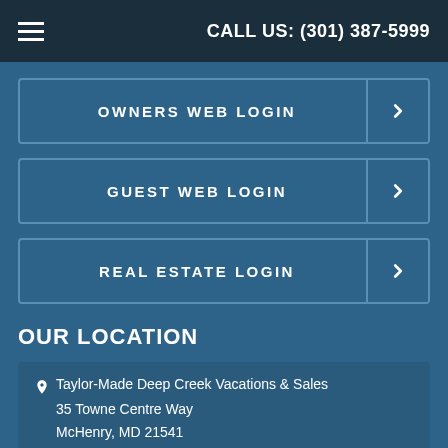CALL US: (301) 387-5999
OWNERS WEB LOGIN
GUEST WEB LOGIN
REAL ESTATE LOGIN
OUR LOCATION
Taylor-Made Deep Creek Vacations & Sales
35 Towne Centre Way
McHenry, MD 21541
For Property Management
301-387-5999 x.2